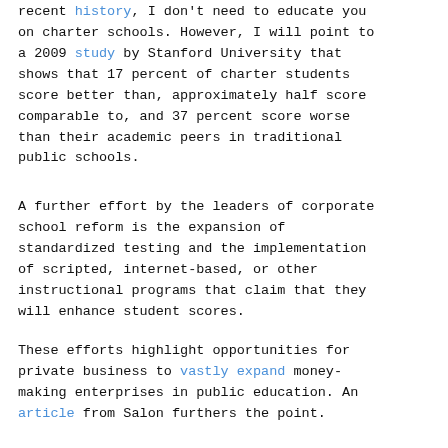recent history, I don't need to educate you on charter schools. However, I will point to a 2009 study by Stanford University that shows that 17 percent of charter students score better than, approximately half score comparable to, and 37 percent score worse than their academic peers in traditional public schools.
A further effort by the leaders of corporate school reform is the expansion of standardized testing and the implementation of scripted, internet-based, or other instructional programs that claim that they will enhance student scores.
These efforts highlight opportunities for private business to vastly expand money-making enterprises in public education. An article from Salon furthers the point.